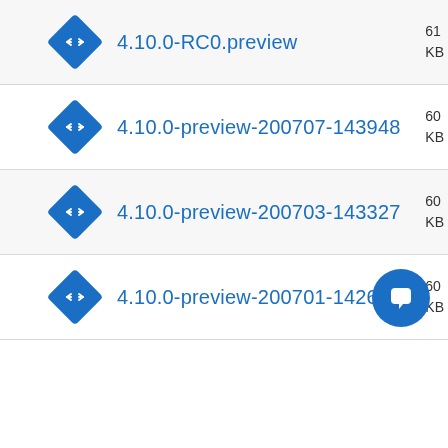4.10.0-RC0.preview
4.10.0-preview-200707-143948
4.10.0-preview-200703-143327
4.10.0-preview-200701-142632